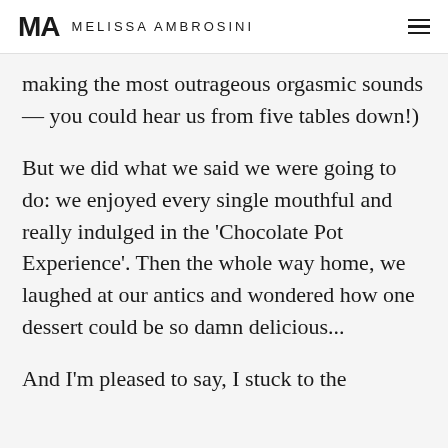MA MELISSA AMBROSINI
making the most outrageous orgasmic sounds — you could hear us from five tables down!)
But we did what we said we were going to do: we enjoyed every single mouthful and really indulged in the 'Chocolate Pot Experience'. Then the whole way home, we laughed at our antics and wondered how one dessert could be so damn delicious...
And I'm pleased to say, I stuck to the